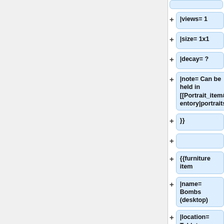|views= 1
|size= 1x1
|decay= ?
|note= Can be held in [[Portrait_item#Inventory|portraits]].
}}
{{furniture item
|name= Bombs (desktop)
|location= Tabletop
|doubloons= N/A
|recipe=<big>Not for sale. Available from